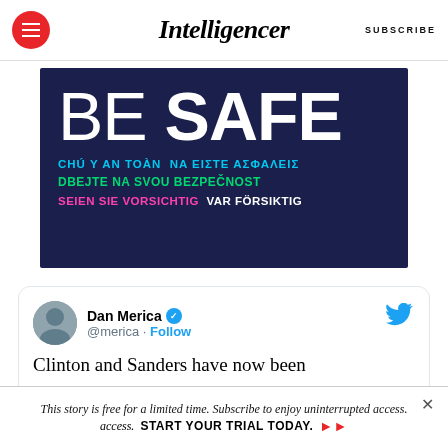Intelligencer | SUBSCRIBE
[Figure (infographic): Dark navy blue banner with 'BE SAFE' in large white bold text, followed by translations in multiple languages: Vietnamese in blue, Greek in teal, Czech in green, German in pink, Norwegian in white]
[Figure (screenshot): Embedded tweet from Dan Merica (@merica) with blue verified checkmark and Follow button, showing partial tweet text: 'Clinton and Sanders have now been']
This story is free for a limited time. Subscribe to enjoy uninterrupted access. START YOUR TRIAL TODAY.